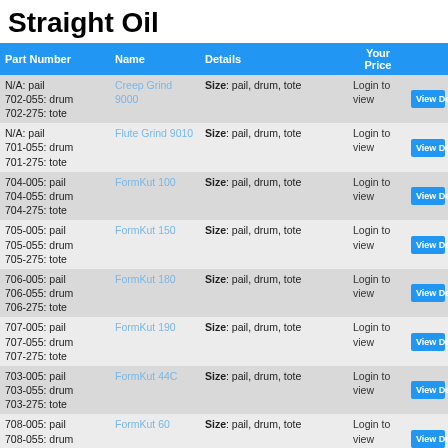Straight Oil
| Part Number | Name | Details | Your Price |  |
| --- | --- | --- | --- | --- |
| N/A: pail
702-055: drum
702-275: tote | Creep Grind 9000 | Size: pail, drum, tote | Login to view | View Details |
| N/A: pail
701-055: drum
701-275: tote | Flute Grind 9010 | Size: pail, drum, tote | Login to view | View Details |
| 704-005: pail
704-055: drum
704-275: tote | FormKut 100 | Size: pail, drum, tote | Login to view | View Details |
| 705-005: pail
705-055: drum
705-275: tote | FormKut 150 | Size: pail, drum, tote | Login to view | View Details |
| 706-005: pail
706-055: drum
706-275: tote | FormKut 180 | Size: pail, drum, tote | Login to view | View Details |
| 707-005: pail
707-055: drum
707-275: tote | FormKut 190 | Size: pail, drum, tote | Login to view | View Details |
| 703-005: pail
703-055: drum
703-275: tote | FormKut 44C | Size: pail, drum, tote | Login to view | View Details |
| 708-005: pail
708-055: drum
708-275: tote | FormKut 60 | Size: pail, drum, tote | Login to view | View Details |
| 716-005: pail
716-055: drum
716-275: tote | GS Oil | Size: pail, drum, tote | Login to view | View Details |
| 709-005: pail
709-055: drum
709-275: tote | Honey Oil | Size: pail, drum, tote | Login to view | View Details |
| 715-005: pail
715-055: drum | Matterhorn A | Size: pail, drum, tote | Login to view | View Details |